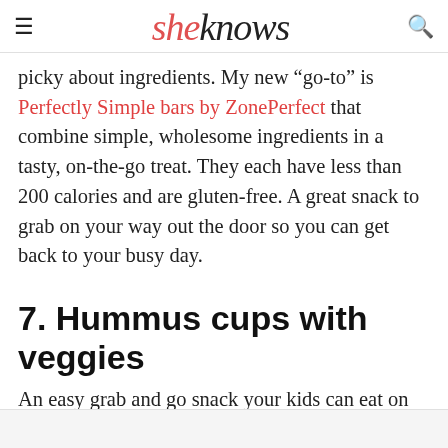sheknows
picky about ingredients. My new “go-to” is Perfectly Simple bars by ZonePerfect that combine simple, wholesome ingredients in a tasty, on-the-go treat. They each have less than 200 calories and are gluten-free. A great snack to grab on your way out the door so you can get back to your busy day.
7. Hummus cups with veggies
An easy grab and go snack your kids can eat on the way to soccer practice or to add brain power before